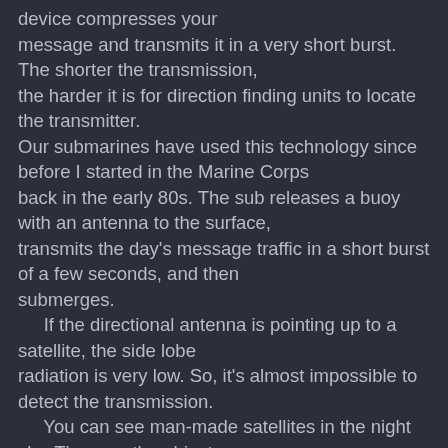device compresses your message and transmits it in a very short burst.  The shorter the transmission, the harder it is for direction finding units to locate the transmitter. Our submarines have used this technology since before I started in the Marine Corps back in the early 80s.  The sub releases a buoy with an antenna to the surface, transmits the day's message traffic in a short burst of a few seconds, and then submerges.     If the directional antenna is pointing up to a satellite, the side lobe radiation is very low.  So, it's almost impossible to detect the transmission.     You can see man-made satellites in the night sky.  They are the objects moving fast, because they are in low Earth orbit.  The natural heavenly bodies are far away and so appear to move slowly.  The geosynchronous satellites